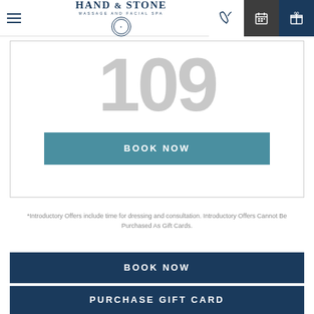[Figure (logo): Hand & Stone Massage and Facial Spa logo with circular emblem]
109
BOOK NOW
*Introductory Offers include time for dressing and consultation. Introductory Offers Cannot Be Purchased As Gift Cards.
BOOK NOW
PURCHASE GIFT CARD